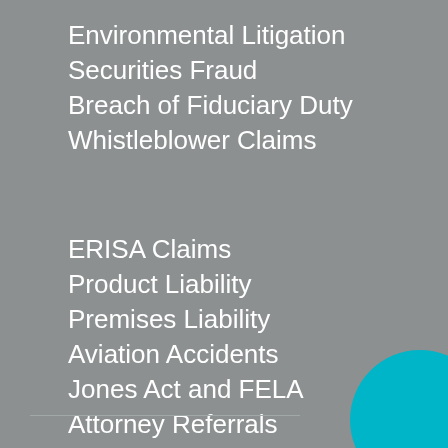Environmental Litigation
Securities Fraud
Breach of Fiduciary Duty
Whistleblower Claims
ERISA Claims
Product Liability
Premises Liability
Aviation Accidents
Jones Act and FELA
Attorney Referrals
[Figure (illustration): Teal circle decorative element in bottom right corner]